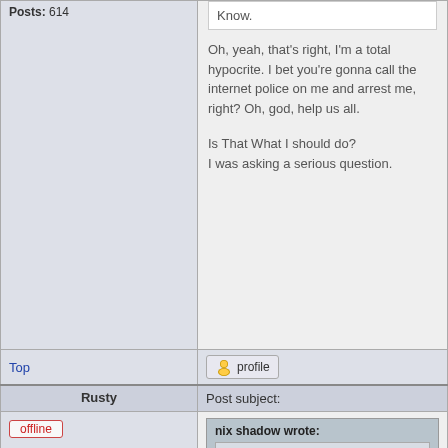Posts: 614
Know.
Oh, yeah, that's right, I'm a total hypocrite. I bet you're gonna call the internet police on me and arrest me, right? Oh, god, help us all.
Is That What I should do?
I was asking a serious question.
Top
profile
Rusty
Post subject:
offline
nix shadow wrote:
Rusty wrote: